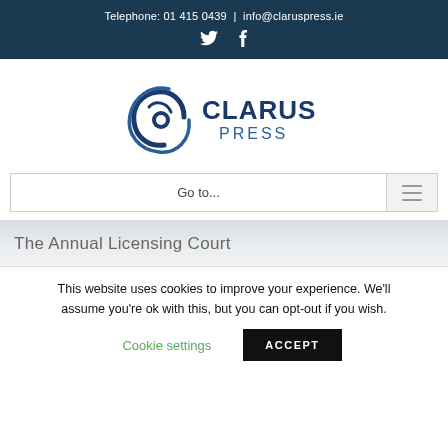Telephone: 01 415 0439 | info@claruspress.ie
[Figure (logo): Clarus Press logo with circular swirl icon and text CLARUS PRESS]
Go to...
The Annual Licensing Court
This website uses cookies to improve your experience. We'll assume you're ok with this, but you can opt-out if you wish.
Cookie settings | ACCEPT